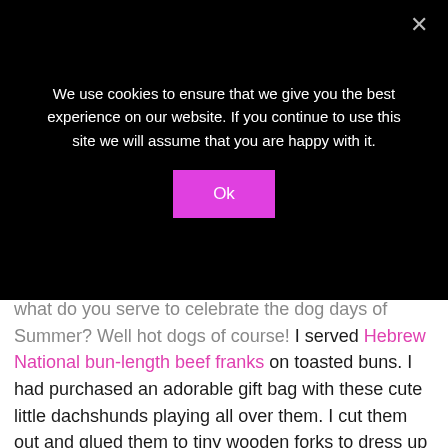We use cookies to ensure that we give you the best experience on our website. If you continue to use this site we will assume that you are happy with it.
Ok
what do you serve to celebrate the dog days of Summer?  Well hot dogs of course!  I served Hebrew National bun-length beef franks on toasted buns.  I had purchased an adorable gift bag with these cute little dachshunds playing all over them.  I cut them out and glued them to tiny wooden forks to dress up my party food.
[Figure (photo): Bottom edge of a photo showing a white surface, partially visible — appears to be a table setting or food display scene.]